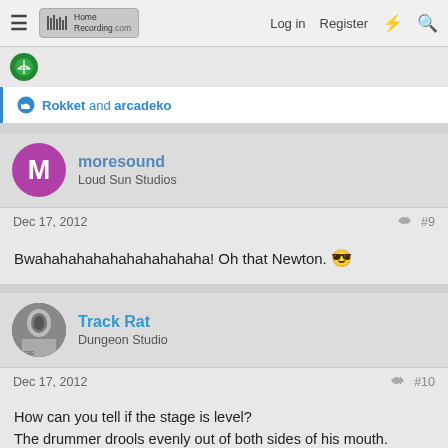HomeRecording.com  Log in  Register
Rokket and arcadeko
moresound
Loud Sun Studios
Dec 17, 2012  #9
Bwahahahahahahahahahaha! Oh that Newton. 😎
Track Rat
Dungeon Studio
Dec 17, 2012  #10
How can you tell if the stage is level?
The drummer drools evenly out of both sides of his mouth.